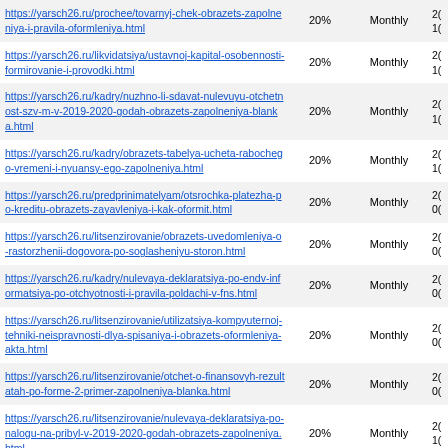| URL | Priority | Change Frequency | Last Modified |
| --- | --- | --- | --- |
| https://yarsch26.ru/prochee/tovarnyj-chek-obrazets-zapolneniya-i-pravila-oformleniya.html | 20% | Monthly | 2…1( |
| https://yarsch26.ru/likvidatsiya/ustavnoj-kapital-osobennosti-formirovanie-i-provodki.html | 20% | Monthly | 2…1( |
| https://yarsch26.ru/kadry/nuzhno-li-sdavat-nulevuyu-otchetnost-szv-m-v-2019-2020-godah-obrazets-zapolneniya-blanka.html | 20% | Monthly | 2…1( |
| https://yarsch26.ru/kadry/obrazets-tabelya-ucheta-rabochego-vremeni-i-nyuansy-ego-zapolneniya.html | 20% | Monthly | 2…1( |
| https://yarsch26.ru/predprinimatelyam/otsrochka-platezha-po-kreditu-obrazets-zayavleniya-i-kak-oformit.html | 20% | Monthly | 2…0( |
| https://yarsch26.ru/litsenzirovanie/obrazets-uvedomleniya-o-rastorzhenii-dogovora-po-soglasheniyu-storon.html | 20% | Monthly | 2…0( |
| https://yarsch26.ru/kadry/nulevaya-deklaratsiya-po-endv-informatsiya-po-otchyotnosti-i-pravila-poldachi-v-fns.html | 20% | Monthly | 2…0( |
| https://yarsch26.ru/litsenzirovanie/utilizatsiya-kompyuternoj-tehniki-neispravnosti-dlya-spisaniya-i-obrazets-oformleniya-akta.html | 20% | Monthly | 2…0( |
| https://yarsch26.ru/litsenzirovanie/otchet-o-finansovyh-rezultatah-po-forme-2-primer-zapolneniya-blanka.html | 20% | Monthly | 2…0( |
| https://yarsch26.ru/litsenzirovanie/nulevaya-deklaratsiya-po-nalogu-na-pribyl-v-2019-2020-godah-obrazets-zapolneniya.html | 20% | Monthly | 2…1( |
| https://yarsch26.ru/likvidatsiya/obraztsy-svidetelstva-… | 20% | Monthly | 2… |